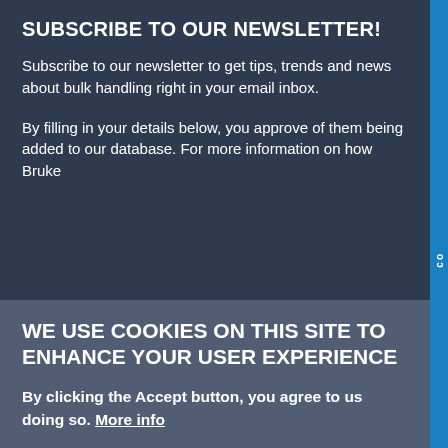SUBSCRIBE TO OUR NEWSLETTER!
Subscribe to our newsletter to get tips, trends and news about bulk handling right in your email inbox.
By filling in your details below, you approve of them being added to our database. For more information on how Bruke
WE USE COOKIES ON THIS SITE TO ENHANCE YOUR USER EXPERIENCE
By clicking the Accept button, you agree to us doing so. More info
✓  Functional cookies
SAVE PREFERENCES
ACCEPT ALL COOKIES